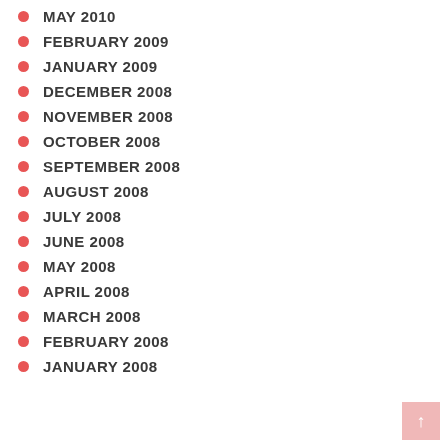MAY 2010
FEBRUARY 2009
JANUARY 2009
DECEMBER 2008
NOVEMBER 2008
OCTOBER 2008
SEPTEMBER 2008
AUGUST 2008
JULY 2008
JUNE 2008
MAY 2008
APRIL 2008
MARCH 2008
FEBRUARY 2008
JANUARY 2008